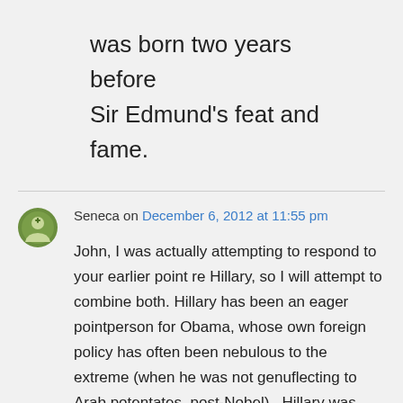was born two years before Sir Edmund's feat and fame.
Seneca on December 6, 2012 at 11:55 pm
John, I was actually attempting to respond to your earlier point re Hillary, so I will attempt to combine both. Hillary has been an eager pointperson for Obama, whose own foreign policy has often been nebulous to the extreme (when he was not genuflecting to Arab potentates, post-Nobel).. Hillary was